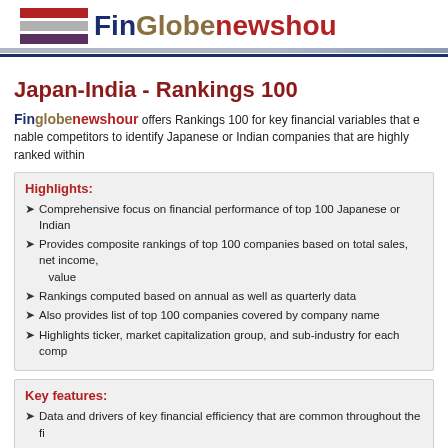FinGlobenewshour
Japan-India - Rankings 100
Finglobenewshour offers Rankings 100 for key financial variables that enable competitors to identify Japanese or Indian companies that are highly ranked within
Highlights:
Comprehensive focus on financial performance of top 100 Japanese or Indian
Provides composite rankings of top 100 companies based on total sales, net income, value
Rankings computed based on annual as well as quarterly data
Also provides list of top 100 companies covered by company name
Highlights ticker, market capitalization group, and sub-industry for each company
Key features:
Data and drivers of key financial efficiency that are common throughout the financial